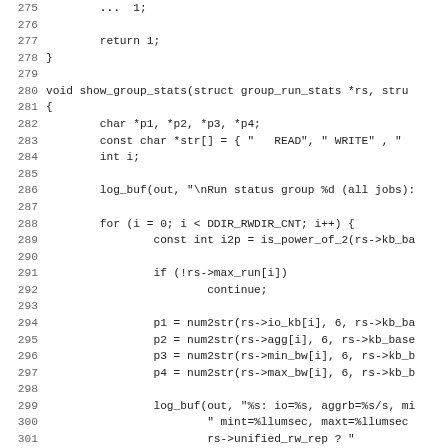[Figure (other): Source code listing showing C function show_group_stats, lines 275-307, with line numbers on the left and monospace code on the right.]